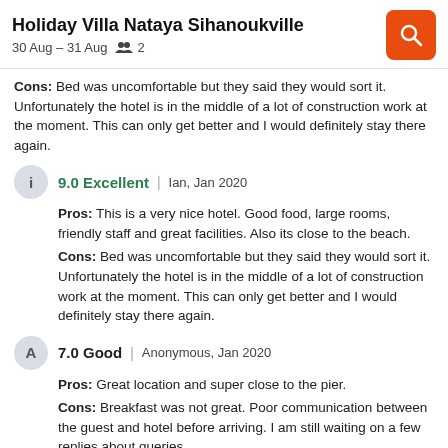Holiday Villa Nataya Sihanoukville
30 Aug – 31 Aug  2
Cons: Bed was uncomfortable but they said they would sort it. Unfortunately the hotel is in the middle of a lot of construction work at the moment. This can only get better and I would definitely stay there again.
9.0 Excellent | Ian, Jan 2020
Pros: This is a very nice hotel. Good food, large rooms, friendly staff and great facilities. Also its close to the beach.
Cons: Bed was uncomfortable but they said they would sort it. Unfortunately the hotel is in the middle of a lot of construction work at the moment. This can only get better and I would definitely stay there again.
7.0 Good | Anonymous, Jan 2020
Pros: Great location and super close to the pier.
Cons: Breakfast was not great. Poor communication between the guest and hotel before arriving. I am still waiting on a few replies about queries.